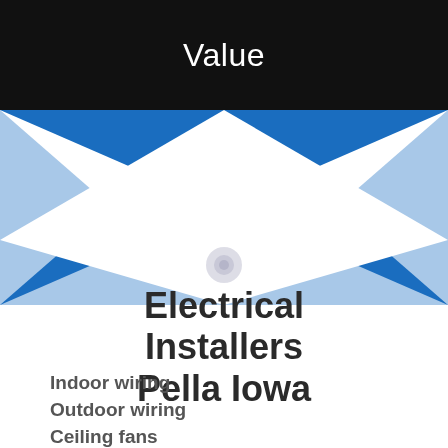Value
[Figure (illustration): Decorative X-shaped graphic with blue triangles on a white background, forming a crossing pattern. Two dark blue triangles point inward from top-left and top-right, two light blue triangles form the sides, meeting at center.]
Electrical Installers Pella Iowa
Indoor wiring
Outdoor wiring
Ceiling fans
Wall switches
Wall outlets
New lighting and repair